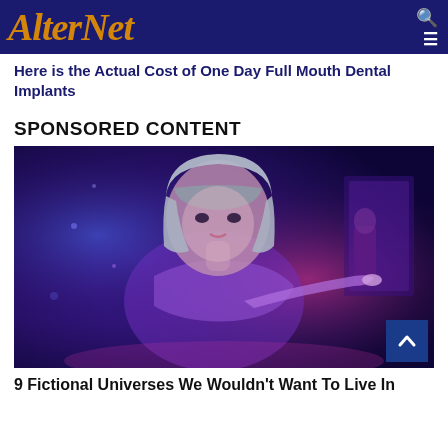AlterNet
Here is the Actual Cost of One Day Full Mouth Dental Implants
SPONSORED CONTENT
[Figure (photo): A futuristic female humanoid or digital character with silver hair and a blunt fringe, wearing a glowing outfit, pointing her finger in a purple/blue neon-lit sci-fi environment. Another figure stands in the background.]
9 Fictional Universes We Wouldn't Want To Live In